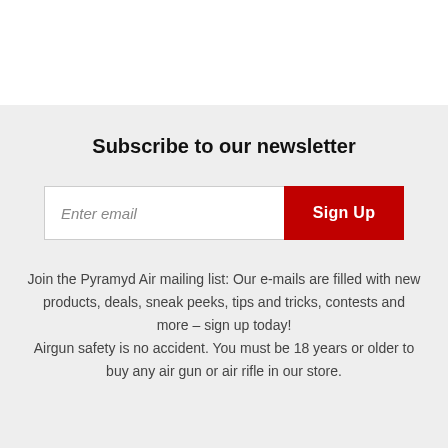Subscribe to our newsletter
Join the Pyramyd Air mailing list: Our e-mails are filled with new products, deals, sneak peeks, tips and tricks, contests and more – sign up today! Airgun safety is no accident. You must be 18 years or older to buy any air gun or air rifle in our store.